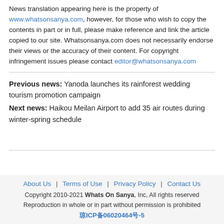News translation appearing here is the property of www.whatsonsanya.com, however, for those who wish to copy the contents in part or in full, please make reference and link the article copied to our site. Whatsonsanya.com does not necessarily endorse their views or the accuracy of their content. For copyright infringement issues please contact editor@whatsonsanya.com
Previous news: Yanoda launches its rainforest wedding tourism promotion campaign
Next news: Haikou Meilan Airport to add 35 air routes during winter-spring schedule
About Us | Terms of Use | Privacy Policy | Contact Us
Copyright 2010-2021 Whats On Sanya, Inc, All rights reserved
Reproduction in whole or in part without permission is prohibited
琼ICP备06020464号-5